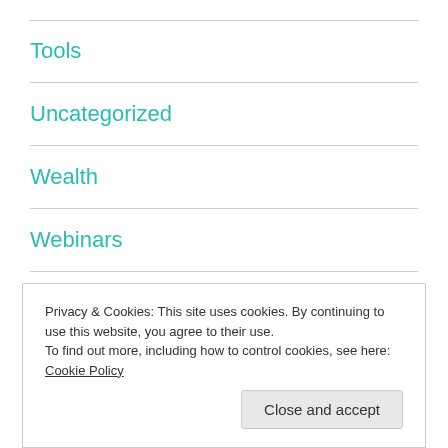Tools
Uncategorized
Wealth
Webinars
WordPress
Privacy & Cookies: This site uses cookies. By continuing to use this website, you agree to their use.
To find out more, including how to control cookies, see here: Cookie Policy
Close and accept